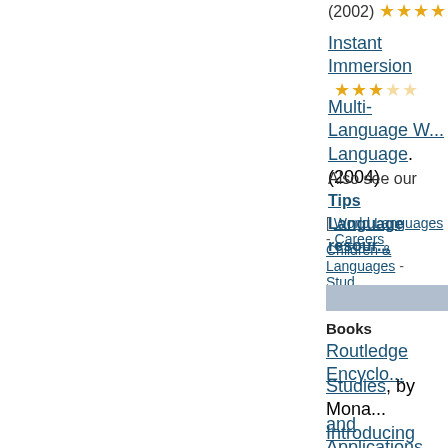(2002) ★★★★☆
Instant Immersion ★★★☆☆
Multi-Language W... Language. (2004)
Also see our Tips Language resour...
[ World Languages - Careers
Children & Languages - Stud...
Books
Routledge Encyclo...
Studies, by Mona... Introducing Transla...
and Applications, ... (2001)
Practical Guide fo...